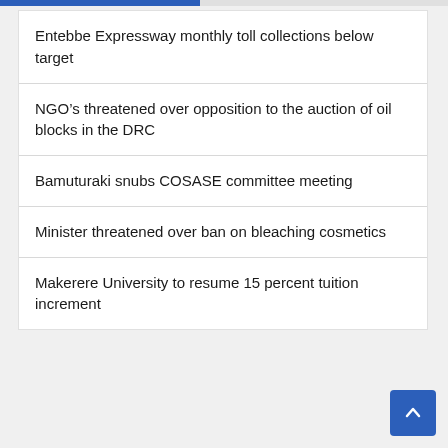Entebbe Expressway monthly toll collections below target
NGO’s threatened over opposition to the auction of oil blocks in the DRC
Bamuturaki snubs COSASE committee meeting
Minister threatened over ban on bleaching cosmetics
Makerere University to resume 15 percent tuition increment